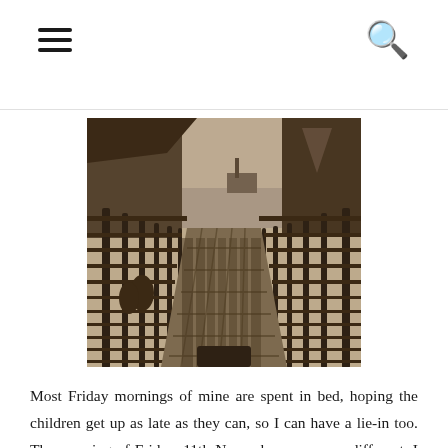[hamburger menu icon] [search icon]
[Figure (photo): Black and white sepia-toned photograph of a wooden dock or pier walkway with metal railings on both sides, leading toward a harbor or waterway in the background. Dramatic perspective looking down the gangway. People and buildings visible in the distance.]
Most Friday mornings of mine are spent in bed, hoping the children get up as late as they can, so I can have a lie-in too. The morning of Friday, 11th November, was very different. I was hoping the kids would sleep till late, but only coz I was